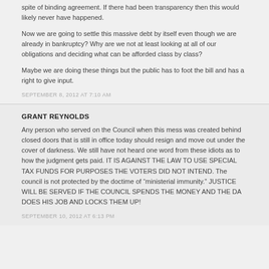spite of binding agreement. If there had been transparency then this would likely never have happened.
Now we are going to settle this massive debt by itself even though we are already in bankruptcy? Why are we not at least looking at all of our obligations and deciding what can be afforded class by class?
Maybe we are doing these things but the public has to foot the bill and has a right to give input.
SEPTEMBER 8, 2012 AT 7:10 AM
GRANT REYNOLDS
Any person who served on the Council when this mess was created behind closed doors that is still in office today should resign and move out under the cover of darkness. We still have not heard one word from these idiots as to how the judgment gets paid. IT IS AGAINST THE LAW TO USE SPECIAL TAX FUNDS FOR PURPOSES THE VOTERS DID NOT INTEND. The council is not protected by the doctime of “ministerial immunity.” JUSTICE WILL BE SERVED IF THE COUNCIL SPENDS THE MONEY AND THE DA DOES HIS JOB AND LOCKS THEM UP!
SEPTEMBER 10, 2012 AT 6:13 PM